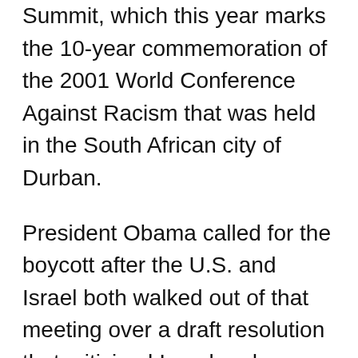Summit, which this year marks the 10-year commemoration of the 2001 World Conference Against Racism that was held in the South African city of Durban.
President Obama called for the boycott after the U.S. and Israel both walked out of that meeting over a draft resolution that criticized Israel and equated Zionism with racism.?In a letter drafted by Joseph E. McManus, acting U.S. assistant secretary of state for legislative affairs, it was stated that the United States would not participate in the upcoming conference because the Durban process “included ugly displays of intolerance and anti-Semitism”.
Many U.S. politicians on both sides have backed the